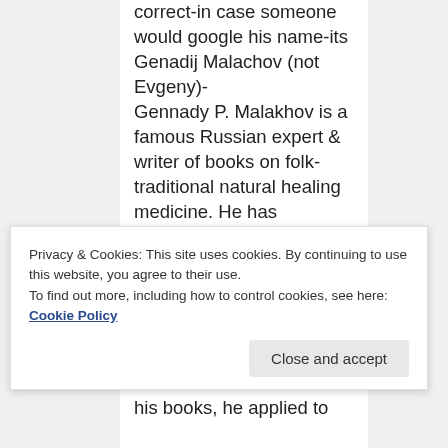correct-in case someone would google his name-its Genadij Malachov (not Evgeny)- Gennady P. Malakhov is a famous Russian expert & writer of books on folk-traditional natural healing medicine. He has published more than sixty books, which have been sold in over thirty million copies and translated into several foreign languages. With his
Privacy & Cookies: This site uses cookies. By continuing to use this website, you agree to their use. To find out more, including how to control cookies, see here: Cookie Policy
his books, he applied to